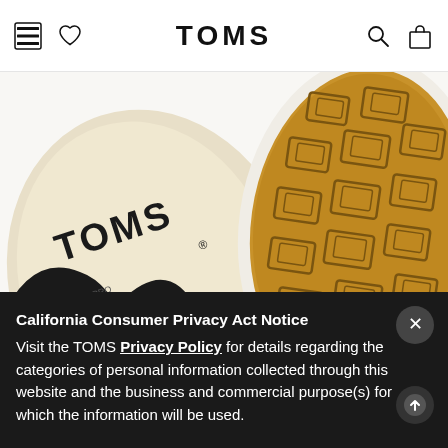TOMS navigation bar with menu, wishlist, search, and cart icons
[Figure (photo): Close-up product photo of TOMS shoes showing the interior insole branded with TOMS logo and text '1/3 OF PRO GRASSROO...' on the left, and the brown rubber outsole with geometric diamond tread pattern on the right, against a white background.]
Vulcanized sole for enhanced durability
California Consumer Privacy Act Notice
Visit the TOMS Privacy Policy for details regarding the categories of personal information collected through this website and the business and commercial purpose(s) for which the information will be used.